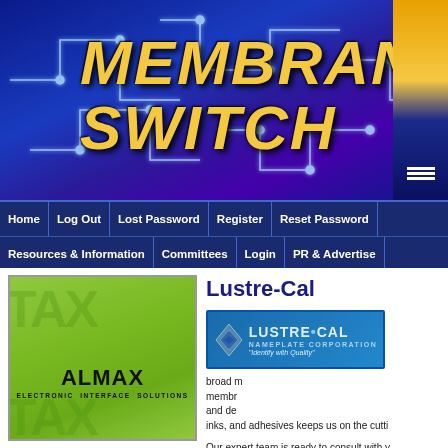[Figure (screenshot): Website banner with blue circuit board background and 'MEMBRANE SWITCH' text in large gold italic bold font. Right side partially shows a yellow/navy promotional element.]
[Figure (screenshot): Navigation bar with dark blue background, two rows of menu items: Row 1: Home, Log Out, Lost Password, Register, Reset Password. Row 2: Resources & Information, Committees, Login, PR & Advertise. Right side has RSS (orange) and Twitter (blue) social media buttons.]
[Figure (logo): ALMAX Electronic Interface Solutions advertisement on green background with watermark pattern]
Lustre-Cal
[Figure (logo): Lustre-Cal Nameplate Corporation logo on blue gradient background with tagline 'Identify with Quality']
broad range of membrane br and design inks, and adhesives keeps us on the cutti
Our expert team is ready to consult with y engineering, design, and graphics, as we